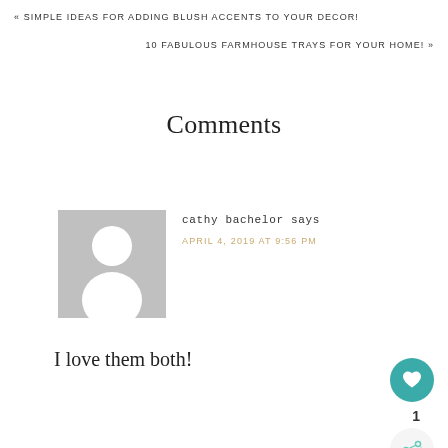« SIMPLE IDEAS FOR ADDING BLUSH ACCENTS TO YOUR DECOR!
10 FABULOUS FARMHOUSE TRAYS FOR YOUR HOME! »
Comments
[Figure (illustration): Default user avatar placeholder: grey square with white silhouette of a person]
cathy bachelor says
APRIL 4, 2019 AT 9:56 PM
I love them both!